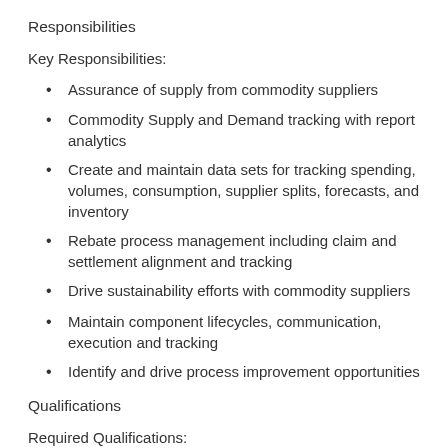Responsibilities
Key Responsibilities:
Assurance of supply from commodity suppliers
Commodity Supply and Demand tracking with report analytics
Create and maintain data sets for tracking spending, volumes, consumption, supplier splits, forecasts, and inventory
Rebate process management including claim and settlement alignment and tracking
Drive sustainability efforts with commodity suppliers
Maintain component lifecycles, communication, execution and tracking
Identify and drive process improvement opportunities
Qualifications
Required Qualifications:
2+ years in supply chain, operations, planning, data analysis
2+ years of experience creating Power BI and advanced level Excel skills